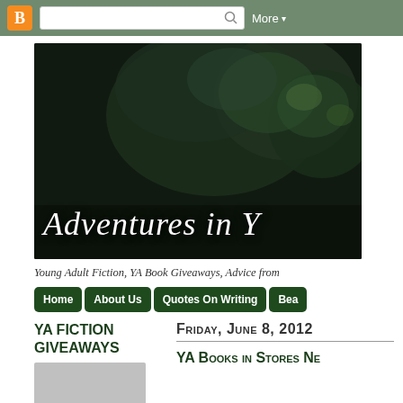Blogger navigation bar with search and More menu
[Figure (screenshot): Blog banner image showing dark forest/tree background with blog title 'Adventures in Y...' overlaid in large italic white serif font]
Young Adult Fiction, YA Book Giveaways, Advice from
Home | About Us | Quotes On Writing | Bea...
YA FICTION GIVEAWAYS
Friday, June 8, 2012
YA Books in Stores Ne...